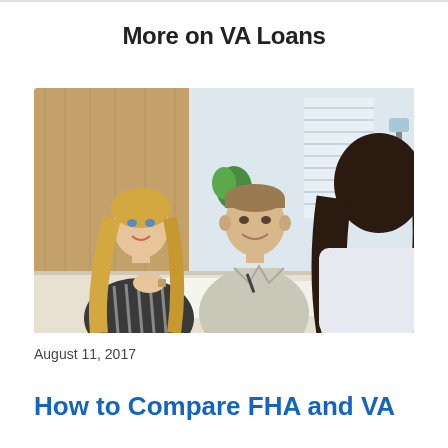More on VA Loans
[Figure (photo): A couple sitting across a table from a financial advisor or loan officer, smiling and engaged in conversation. The woman has long blonde hair and wears a striped blouse; the man is in a light-colored button-up shirt. The advisor seen from behind has dark hair. Papers are on the table.]
August 11, 2017
How to Compare FHA and VA